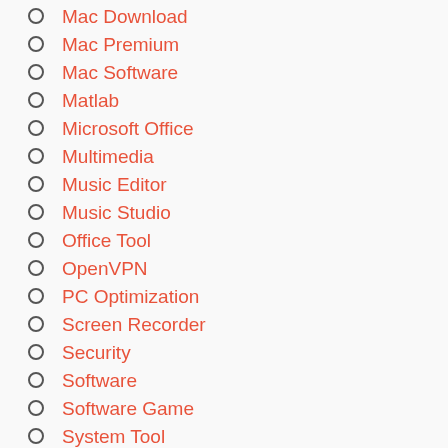Mac Download
Mac Premium
Mac Software
Matlab
Microsoft Office
Multimedia
Music Editor
Music Studio
Office Tool
OpenVPN
PC Optimization
Screen Recorder
Security
Software
Software Game
System Tool